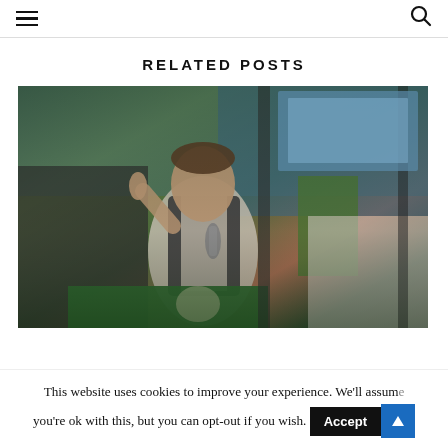≡  🔍
RELATED POSTS
[Figure (photo): A man in a white kurta and dark vest speaks into a microphone at an outdoor political rally, gesturing with one finger raised. A Pakistani flag is visible in the foreground, and crowds of people are visible behind him under a tent structure.]
This website uses cookies to improve your experience. We'll assume you're ok with this, but you can opt-out if you wish.